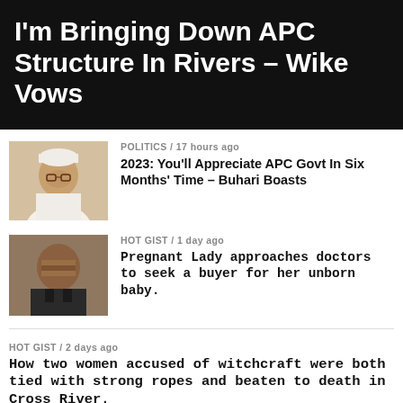I'm Bringing Down APC Structure In Rivers – Wike Vows
POLITICS / 17 hours ago
2023: You'll Appreciate APC Govt In Six Months' Time – Buhari Boasts
[Figure (photo): Photo of a man in white traditional attire and cap, head slightly bowed]
HOT GIST / 1 day ago
Pregnant Lady approaches doctors to seek a buyer for her unborn baby.
[Figure (photo): Photo of a young person with a blurred/pixelated face, wearing dark clothing]
HOT GIST / 2 days ago
How two women accused of witchcraft were both tied with strong ropes and beaten to death in Cross River.
HOT GIST / 2 weeks ago
Lagos Church Stampede; Two die, others